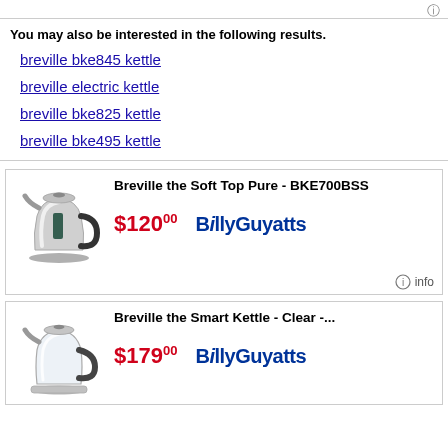You may also be interested in the following results.
breville bke845 kettle
breville electric kettle
breville bke825 kettle
breville bke495 kettle
[Figure (screenshot): Product listing for Breville the Soft Top Pure - BKE700BSS at $120.00 from Billy Guyatts, with image of silver electric kettle]
[Figure (screenshot): Product listing for Breville the Smart Kettle - Clear -... at $179.00 from Billy Guyatts, with image of glass/silver electric kettle]